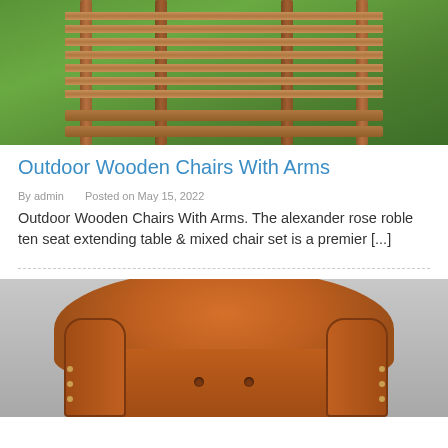[Figure (photo): Photo of stacked outdoor wooden chairs with slatted seats against a green grassy background]
Outdoor Wooden Chairs With Arms
By admin   Posted on May 15, 2022
Outdoor Wooden Chairs With Arms. The alexander rose roble ten seat extending table & mixed chair set is a premier [...]
[Figure (photo): Photo of an orange/tan leather wingback armchair with tufted seat, viewed from the front]